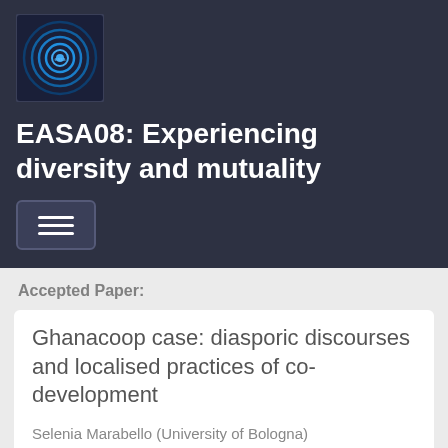[Figure (logo): EASA circular logo with blue concentric rings on dark background]
EASA08: Experiencing diversity and mutuality
[Figure (other): Hamburger menu button with three horizontal lines]
Accepted Paper:
Ghanacoop case: diasporic discourses and localised practices of co-development
Selenia Marabello (University of Bologna)
Paper short abstract:
Exploring the case of a co-